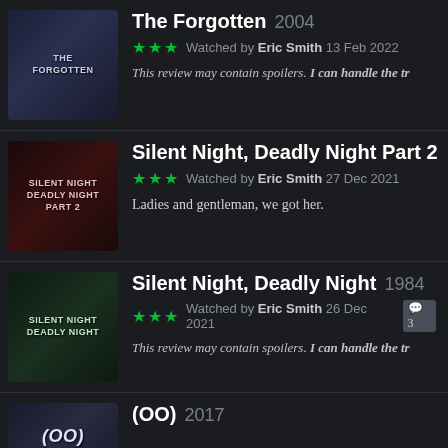[Figure (photo): Movie poster for The Forgotten (2004), dark blue-grey tones]
The Forgotten 2004
★★★ Watched by Eric Smith 13 Feb 2022
This review may contain spoilers. I can handle the tr
[Figure (photo): Movie poster for Silent Night, Deadly Night Part 2]
Silent Night, Deadly Night Part 2
★★★ Watched by Eric Smith 27 Dec 2021
Ladies and gentleman, we got her.
[Figure (photo): Movie poster for Silent Night, Deadly Night (1984)]
Silent Night, Deadly Night 1984
★★★ Watched by Eric Smith 26 Dec 2021 💬3
This review may contain spoilers. I can handle the tr
[Figure (photo): Movie poster for (OO) 2017]
(OO) 2017